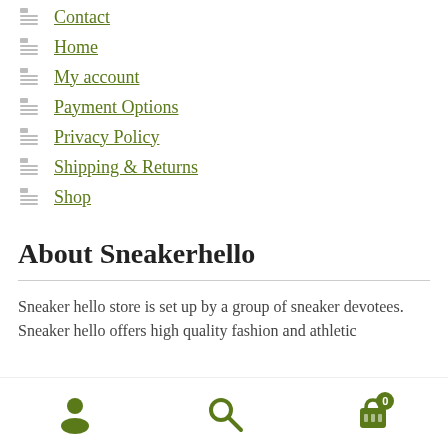Contact
Home
My account
Payment Options
Privacy Policy
Shipping & Returns
Shop
About Sneakerhello
Sneaker hello store is set up by a group of sneaker devotees. Sneaker hello offers high quality fashion and athletic